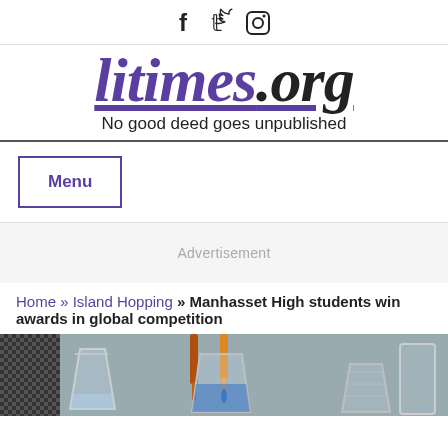f  𝕥  🅘  (social media icons: Facebook, Twitter, Instagram)
litimes.org
No good deed goes unpublished
Menu
Advertisement
Home » Island Hopping » Manhasset High students win awards in global competition
[Figure (photo): Photo of laboratory equipment including beakers, pipettes, and blue liquid in a science lab setting]